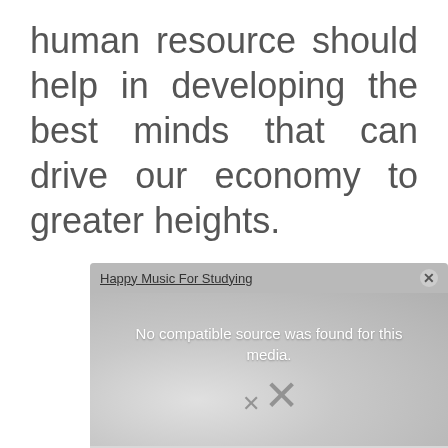human resource should help in developing the best minds that can drive our economy to greater heights.
[Figure (screenshot): A media player overlay widget with title 'Happy Music For Studying', showing an error message 'No compatible source was found for this media.' with a close button and an X symbol below.]